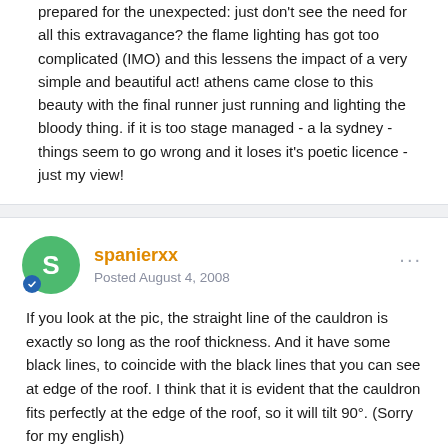prepared for the unexpected: just don't see the need for all this extravagance? the flame lighting has got too complicated (IMO) and this lessens the impact of a very simple and beautiful act! athens came close to this beauty with the final runner just running and lighting the bloody thing. if it is too stage managed - a la sydney - things seem to go wrong and it loses it's poetic licence - just my view!
spanierxx
Posted August 4, 2008
If you look at the pic, the straight line of the cauldron is exactly so long as the roof thickness. And it have some black lines, to coincide with the black lines that you can see at edge of the roof. I think that it is evident that the cauldron fits perfectly at the edge of the roof, so it will tilt 90°. (Sorry for my english)
PYRROS2004